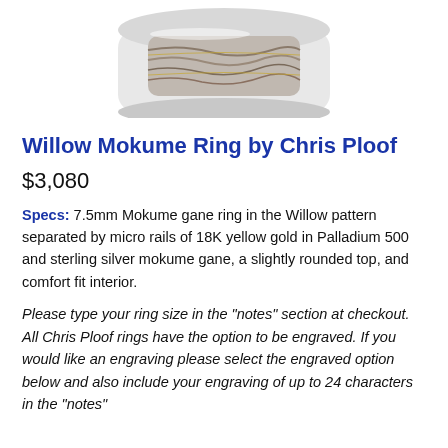[Figure (photo): Partial view of a Mokume ring product photo cropped at top of page, showing the ring on a white/light background.]
Willow Mokume Ring by Chris Ploof
$3,080
Specs: 7.5mm Mokume gane ring in the Willow pattern separated by micro rails of 18K yellow gold in Palladium 500 and sterling silver mokume gane, a slightly rounded top, and comfort fit interior.
Please type your ring size in the "notes" section at checkout. All Chris Ploof rings have the option to be engraved. If you would like an engraving please select the engraved option below and also include your engraving of up to 24 characters in the "notes"